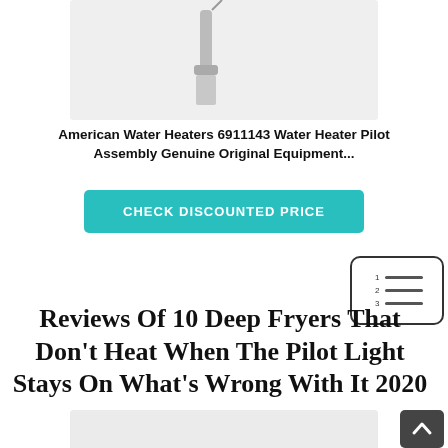[Figure (photo): Product photo of American Water Heaters 6911143 Water Heater Pilot Assembly, partially cropped at top]
American Water Heaters 6911143 Water Heater Pilot Assembly Genuine Original Equipment...
CHECK DISCOUNTED PRICE
[Figure (other): Table of contents icon with numbered list lines]
Reviews Of 10 Deep Fryers That Don't Heat When The Pilot Light Stays On What's Wrong With It 2020
[Figure (photo): Product photo of a thermocouple or pilot assembly with wires, partially cropped]